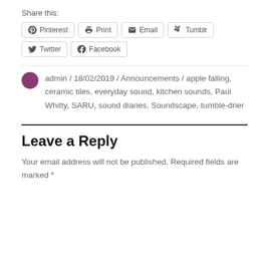Share this:
Pinterest  Print  Email  Tumblr  Twitter  Facebook
admin / 18/02/2019 / Announcements / apple falling, ceramic tiles, everyday sound, kitchen sounds, Paul Whitty, SARU, sound diaries, Soundscape, tumble-drier
Leave a Reply
Your email address will not be published. Required fields are marked *